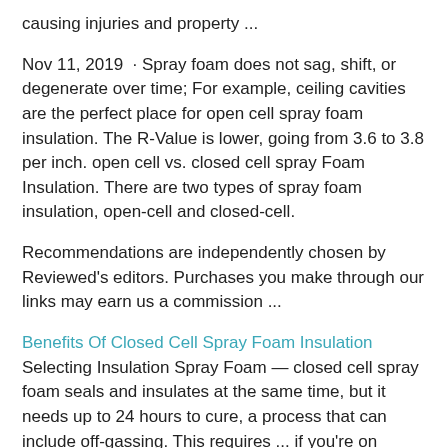causing injuries and property ...
Nov 11, 2019 · Spray foam does not sag, shift, or degenerate over time; For example, ceiling cavities are the perfect place for open cell spray foam insulation. The R-Value is lower, going from 3.6 to 3.8 per inch. open cell vs. closed cell spray Foam Insulation. There are two types of spray foam insulation, open-cell and closed-cell.
Recommendations are independently chosen by Reviewed's editors. Purchases you make through our links may earn us a commission ...
Benefits Of Closed Cell Spray Foam Insulation Selecting Insulation Spray Foam — closed cell spray foam seals and insulates at the same time, but it needs up to 24 hours to cure, a process that can include off-gassing. This requires ... if you're on government benefits or your home is among those which would most benefit from insulation. How much spray foam...